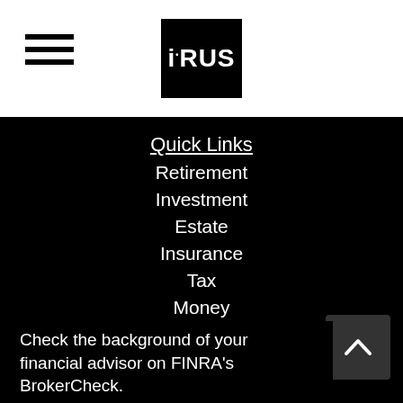iRUS logo and hamburger menu
Quick Links
Retirement
Investment
Estate
Insurance
Tax
Money
Lifestyle
All Articles
All Videos
All Calculators
All Presentations
Check the background of your financial advisor on FINRA's BrokerCheck.